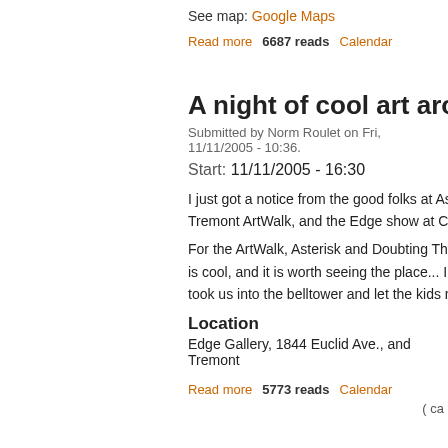See map: Google Maps
Read more   6687 reads   Calendar
A night of cool art around downt…
Submitted by Norm Roulet on Fri, 11/11/2005 - 10:36.
Start: 11/11/2005 - 16:30
I just got a notice from the good folks at Assemble -
Tremont ArtWalk, and the Edge show at Cleveland S…
For the ArtWalk, Asterisk and Doubting Thomas hav…
is cool, and it is worth seeing the place... I went ther…
took us into the belltower and let the kids ring the be…
Location
Edge Gallery, 1844 Euclid Ave., and Tremont
Read more   5773 reads   Calendar
( ca…
Arts & Culture Video - Palace Th…
Submitted by Karen Kilroy on Wed, 11/09/2005 - 07:39.
Location